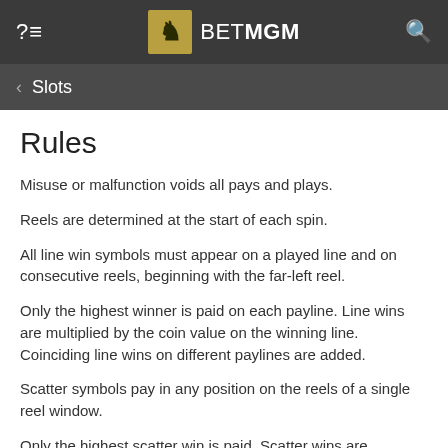BetMGM
Slots
Rules
Misuse or malfunction voids all pays and plays.
Reels are determined at the start of each spin.
All line win symbols must appear on a played line and on consecutive reels, beginning with the far-left reel.
Only the highest winner is paid on each payline. Line wins are multiplied by the coin value on the winning line. Coinciding line wins on different paylines are added.
Scatter symbols pay in any position on the reels of a single reel window.
Only the highest scatter win is paid. Scatter wins are multiplied by the total bet.
Scatter wins are independent from line wins and are added to the